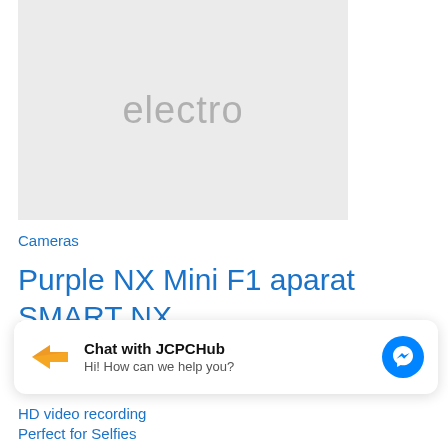[Figure (photo): Product placeholder image with light gray background and the word 'electro' in gray text]
Cameras
Purple NX Mini F1 aparat SMART NX
0 out of 5 (0)
Chat with JCPCHub
Hi! How can we help you?
HD video recording
Perfect for Selfies